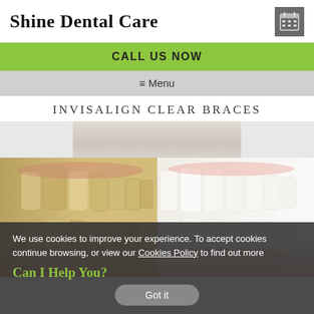Shine Dental Care
[Figure (other): Calendar/appointment icon button in grey square]
CALL US NOW
≡ Menu
INVISALIGN CLEAR BRACES
[Figure (photo): Before and after comparison photo of teeth - left side shows yellowed/misaligned teeth, right side shows white/straight teeth after Invisalign treatment]
We use cookies to improve your experience. To accept cookies continue browsing, or view our Cookies Policy to find out more
Can I Help You?
Got it